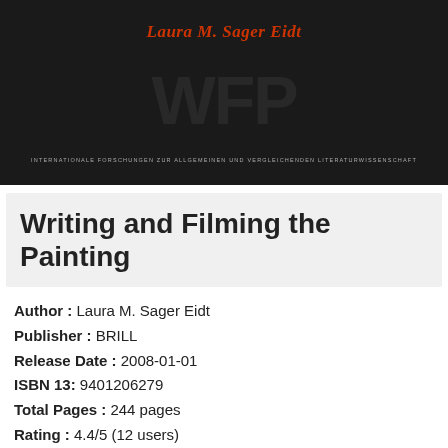[Figure (photo): Book cover with dark background showing author name 'Laura M. Sager Eidt' in italic red/orange text, watermark-style large letters in background, and subtitle text at bottom in small caps]
Writing and Filming the Painting
Author : Laura M. Sager Eidt
Publisher : BRILL
Release Date : 2008-01-01
ISBN 13: 9401206279
Total Pages : 244 pages
Rating : 4.4/5 (12 users)